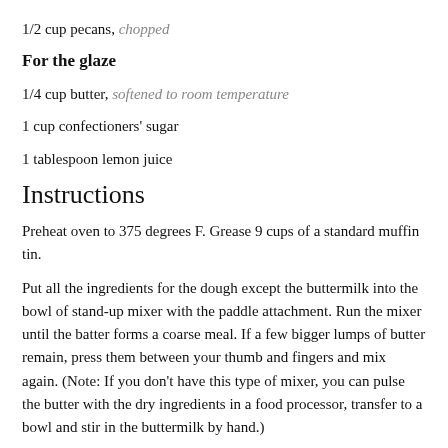1/2 cup pecans, chopped
For the glaze
1/4 cup butter, softened to room temperature
1 cup confectioners' sugar
1 tablespoon lemon juice
Instructions
Preheat oven to 375 degrees F. Grease 9 cups of a standard muffin tin.
Put all the ingredients for the dough except the buttermilk into the bowl of stand-up mixer with the paddle attachment. Run the mixer until the batter forms a coarse meal. If a few bigger lumps of butter remain, press them between your thumb and fingers and mix again. (Note: If you don't have this type of mixer, you can pulse the butter with the dry ingredients in a food processor, transfer to a bowl and stir in the buttermilk by hand.)